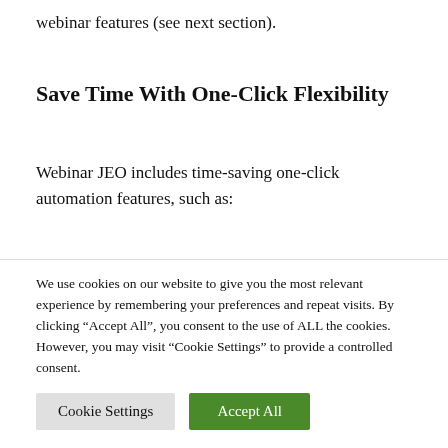webinar features (see next section).
Save Time With One-Click Flexibility
Webinar JEO includes time-saving one-click automation features, such as:
Automatic camera and microphone access
Set time zones and time formats
We use cookies on our website to give you the most relevant experience by remembering your preferences and repeat visits. By clicking "Accept All", you consent to the use of ALL the cookies. However, you may visit "Cookie Settings" to provide a controlled consent.